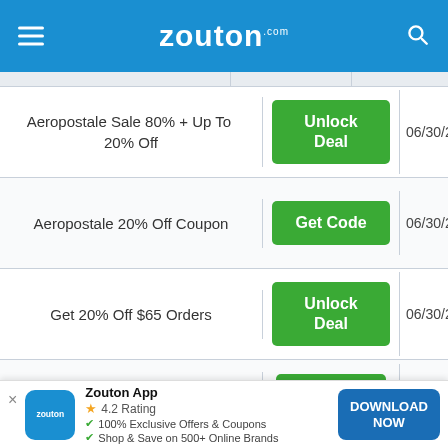zouton.com
| Deal | Action | Expiry |
| --- | --- | --- |
| Aeropostale Sale 80% + Up To  20% Off | Unlock Deal | 06/30/2022 |
| Aeropostale 20% Off Coupon | Get Code | 06/30/2022 |
| Get 20% Off $65 Orders | Unlock Deal | 06/30/2022 |
| Aeropostale Clearance | View | 06/30/2022 |
Zouton App
4.2 Rating
100% Exclusive Offers & Coupons
Shop & Save on 500+ Online Brands